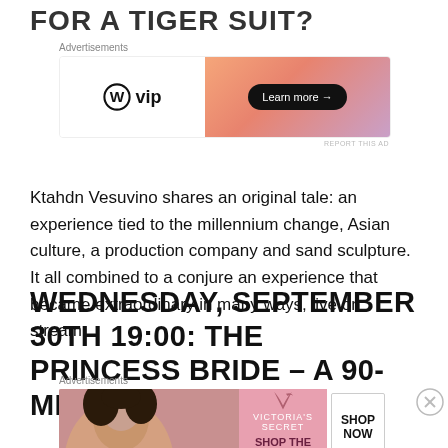FOR A TIGER SUIT?
[Figure (screenshot): WordPress VIP advertisement banner with gradient orange-pink background and 'Learn more →' button]
Ktahdn Vesuvino shares an original tale: an experience tied to the millennium change, Asian culture, a production company and sand sculpture. It all combined to a conjure an experience that became extraordinary in many ways, live on stream.
WEDNESDAY, SEPTEMBER 30TH 19:00: THE PRINCESS BRIDE – A 90-MINUTE
[Figure (screenshot): Victoria's Secret advertisement with model, VS logo, 'SHOP THE COLLECTION' text and 'SHOP NOW' button]